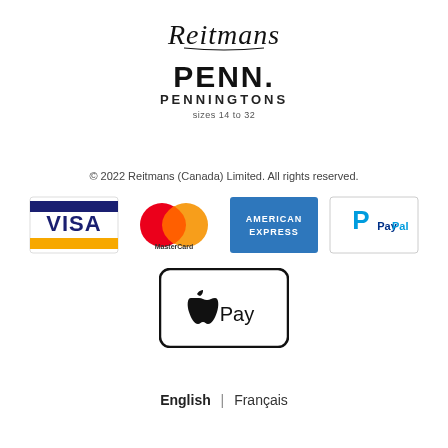[Figure (logo): Reitmans cursive script logo]
[Figure (logo): Penningtons logo with PENN. and PENNINGTONS text and 'sizes 14 to 32']
© 2022 Reitmans (Canada) Limited. All rights reserved.
[Figure (logo): Visa payment logo]
[Figure (logo): MasterCard payment logo]
[Figure (logo): American Express payment logo]
[Figure (logo): PayPal payment logo]
[Figure (logo): Apple Pay payment logo]
English | Français